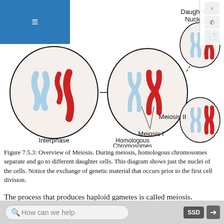≡
[Figure (illustration): Overview of Meiosis diagram showing Interphase (cell with 4 chromosomes: 2 blue, 2 red), then Meiosis I (cell with homologous chromosomes paired/crossed), then two daughter nuclei cells after Meiosis I, then four smaller cells after Meiosis II. Labels: Daughter Nuclei, Interphase, Meiosis I, Homologous Chromosomes, Meiosis II.]
Figure 7.5.3: Overview of Meiosis. During meiosis, homologous chromosomes separate and go to different daughter cells. This diagram shows just the nuclei of the cells. Notice the exchange of genetic material that occurs prior to the first cell division.
The process that produces haploid gametes is called meiosis. Meiosis is a type of cell division in which the
How can we help   SSD